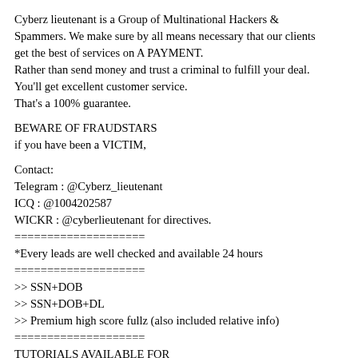Cyberz lieutenant is a Group of Multinational Hackers & Spammers. We make sure by all means necessary that our clients get the best of services on A PAYMENT.
Rather than send money and trust a criminal to fulfill your deal.
You'll get excellent customer service.
That's a 100% guarantee.
BEWARE OF FRAUDSTARS
if you have been a VICTIM,
Contact:
Telegram : @Cyberz_lieutenant
ICQ : @1004202587
WICKR : @cyberlieutenant for directives.
====================
*Every leads are well checked and available 24 hours
====================
>> SSN+DOB
>> SSN+DOB+DL
>> Premium high score fullz (also included relative info)
====================
TUTORIALS AVAILABLE FOR